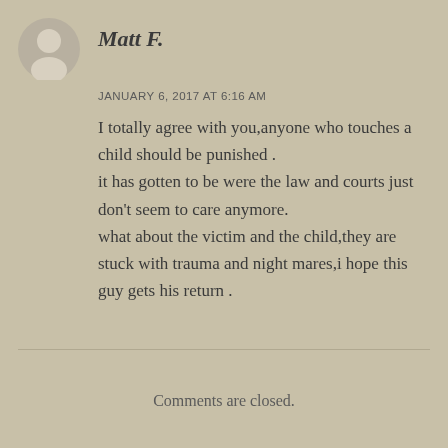[Figure (illustration): Gray circular avatar icon with silhouette of a person]
Matt F.
JANUARY 6, 2017 AT 6:16 AM
I totally agree with you,anyone who touches a child should be punished . it has gotten to be were the law and courts just don't seem to care anymore. what about the victim and the child,they are stuck with trauma and night mares,i hope this guy gets his return .
Comments are closed.